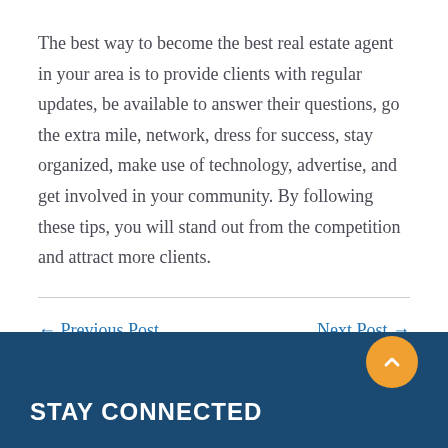The best way to become the best real estate agent in your area is to provide clients with regular updates, be available to answer their questions, go the extra mile, network, dress for success, stay organized, make use of technology, advertise, and get involved in your community. By following these tips, you will stand out from the competition and attract more clients.
← Previous Post
Next Post →
STAY CONNECTED